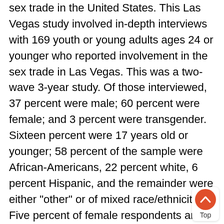sex trade in the United States. This Las Vegas study involved in-depth interviews with 169 youth or young adults ages 24 or younger who reported involvement in the sex trade in Las Vegas. This was a two-wave 3-year study. Of those interviewed, 37 percent were male; 60 percent were female; and 3 percent were transgender. Sixteen percent were 17 years old or younger; 58 percent of the sample were African-Americans, 22 percent white, 6 percent Hispanic, and the remainder were either "other" or of mixed race/ethnicity. Five percent of female respondents and 3 percent of male respondents reported having been arrested for prostitution in the past year. Eighty-four percent of respondents entered the sex market before age 18, and another 12 percent entered it between ages 18 and 21. The most common mode of entrance into prostitution was through persuasion by a custom